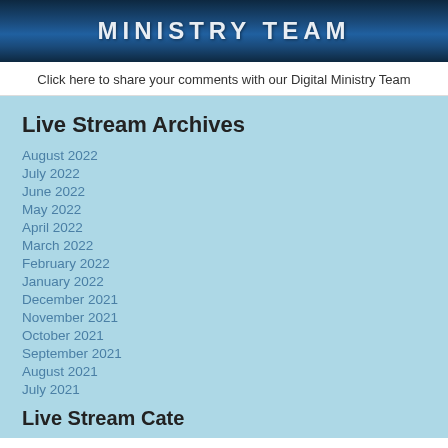[Figure (photo): Dark blue banner with white bold uppercase text reading 'MINISTRY TEAM']
Click here to share your comments with our Digital Ministry Team
Live Stream Archives
August 2022
July 2022
June 2022
May 2022
April 2022
March 2022
February 2022
January 2022
December 2021
November 2021
October 2021
September 2021
August 2021
July 2021
Live Stream Categories